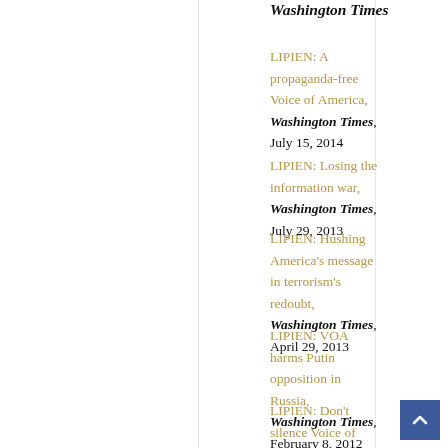Washington Times
LIPIEN: A propaganda-free Voice of America, Washington Times, July 15, 2014
LIPIEN: Losing the information war, Washington Times, July 29, 2013
LIPIEN: Hushing America's message in terrorism's redoubt, Washington Times, April 29, 2013
LIPIEN: VOA harms Putin opposition in Russia, Washington Times, February 8, 2012
LIPIEN: Don't silence Voice of America radio to China, Washington Times, March 31, 2011
LIPIEN: Remembering a Polish-